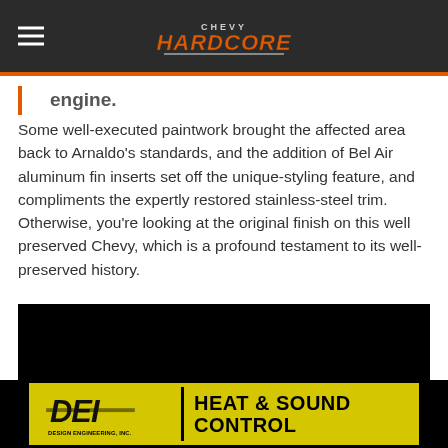Chevy Hardcore (logo/navigation bar)
engine.
Some well-executed paintwork brought the affected area back to Arnaldo’s standards, and the addition of Bel Air aluminum fin inserts set off the unique-styling feature, and compliments the expertly restored stainless-steel trim. Otherwise, you’re looking at the original finish on this well preserved Chevy, which is a profound testament to its well-preserved history.
[Figure (photo): Black/dark image area, appears to be a photo of a car (content not visible due to dark exposure)]
[Figure (logo): DEI Design Engineering Inc. advertisement banner: yellow background with DEI logo on left and 'HEAT & SOUND CONTROL' text on right in bold black letters]